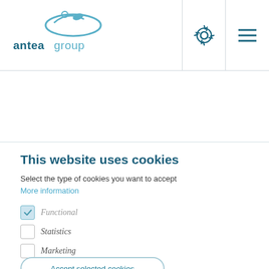[Figure (logo): Antea Group logo with bird/leaf icon above text 'antea group']
[Figure (illustration): Settings gear icon in navigation header]
[Figure (illustration): Hamburger menu icon in navigation header]
This website uses cookies
Select the type of cookies you want to accept
More information
Functional
Statistics
Marketing
Accept selected cookies
Accept all cookies